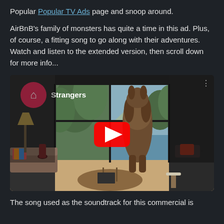Popular Popular TV Ads page and snoop around.
AirBnB's family of monsters has quite a time in this ad. Plus, of course, a fitting song to go along with their adventures. Watch and listen to the extended version, then scroll down for more info...
[Figure (screenshot): YouTube video embed showing AirBnB 'Strangers' commercial. A large furry monster creature stands in a modern living room looking out large windows at trees and mountains. The YouTube play button (red rectangle with white triangle) is centered on the image. The AirBnB logo (pink circle with white symbol) and 'Strangers' text appear in the top-left corner. Three vertical dots menu is in the top-right.]
The song used as the soundtrack for this commercial is